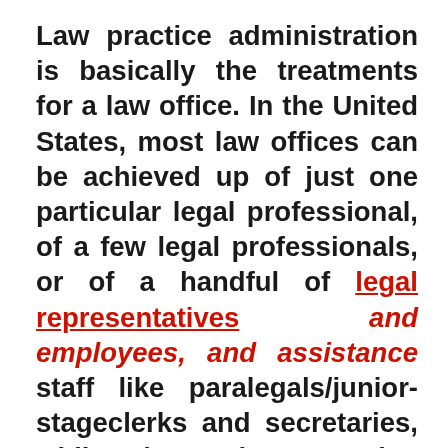Law practice administration is basically the treatments for a law office. In the United States, most law offices can be achieved up of just one particular legal professional, of a few legal professionals, or of a handful of legal representatives and employees, and assistance staff like paralegals/junior-stageclerks and secretaries, while others. There are also single providers who apply solely as his or her very own legal providers. There are still a fairly few solo experts who will be the only proprietors of these providers, despite the fact that virtually all attorneys today have confidential practices, operating from their places of work or perhaps in connection to other law firms. When speaking of regulations management, the two principal